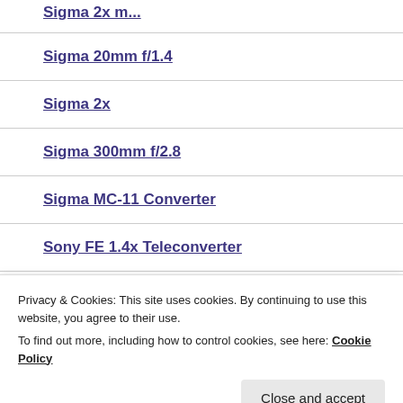Sigma 2x (partial, top)
Sigma 20mm f/1.4
Sigma 2x
Sigma 300mm f/2.8
Sigma MC-11 Converter
Sony FE 1.4x Teleconverter
Sony FE 12-24mm f/4
Privacy & Cookies: This site uses cookies. By continuing to use this website, you agree to their use.
To find out more, including how to control cookies, see here: Cookie Policy
Sony FE 24-105mm f/4